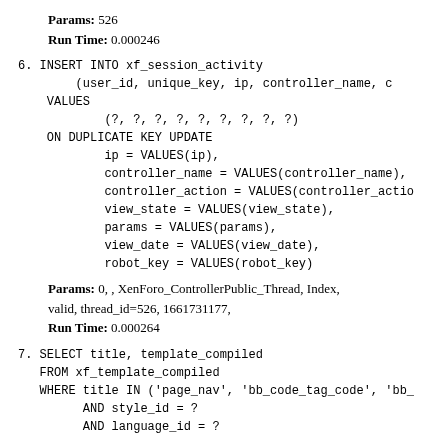Params: 526
Run Time: 0.000246
6. INSERT INTO xf_session_activity
        (user_id, unique_key, ip, controller_name, c
    VALUES
            (?, ?, ?, ?, ?, ?, ?, ?, ?)
    ON DUPLICATE KEY UPDATE
            ip = VALUES(ip),
            controller_name = VALUES(controller_name),
            controller_action = VALUES(controller_actio
            view_state = VALUES(view_state),
            params = VALUES(params),
            view_date = VALUES(view_date),
            robot_key = VALUES(robot_key)
Params: 0, , XenForo_ControllerPublic_Thread, Index, valid, thread_id=526, 1661731177,
Run Time: 0.000264
7. SELECT title, template_compiled
   FROM xf_template_compiled
   WHERE title IN ('page_nav', 'bb_code_tag_code', 'bb_
         AND style_id = ?
         AND language_id = ?
Params: 2, 2
Run Time: 0.001313